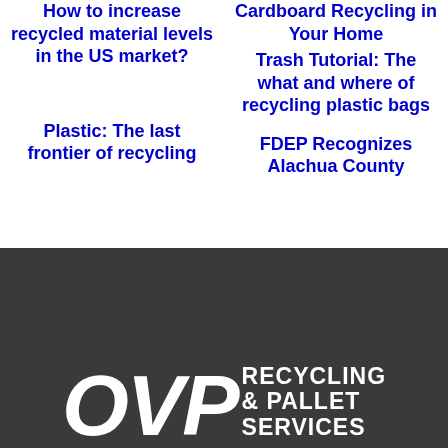How to increase recycled material levels in the US market?
Cardboard Recycling in Your Home
Trash Tutorial: The what and where of recycling plastic bags
Plastic: The last frontier of recycling
FDEP Recognizes Alachua County
[Figure (logo): OVP Recycling & Pallet Services logo — large white bold italic letters OVP with tagline RECYCLING & PALLET SERVICES on dark charcoal background]